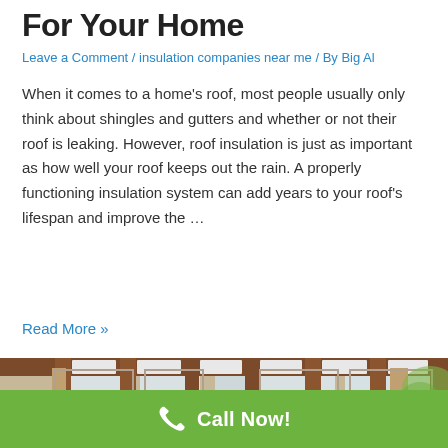For Your Home
Leave a Comment / insulation companies near me / By Big Al
When it comes to a home's roof, most people usually only think about shingles and gutters and whether or not their roof is leaking. However, roof insulation is just as important as how well your roof keeps out the rain. A properly functioning insulation system can add years to your roof's lifespan and improve the …
Read More »
[Figure (photo): Interior photo of a house under construction showing exposed wooden roof framing with white insulation panels installed between rafters, and multiple large windows along the walls letting in natural light.]
Call Now!